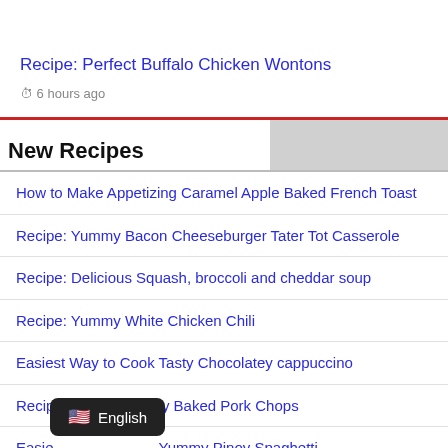Recipe: Perfect Buffalo Chicken Wontons
6 hours ago
New Recipes
How to Make Appetizing Caramel Apple Baked French Toast
Recipe: Yummy Bacon Cheeseburger Tater Tot Casserole
Recipe: Delicious Squash, broccoli and cheddar soup
Recipe: Yummy White Chicken Chili
Easiest Way to Cook Tasty Chocolatey cappuccino
Recipe: Perfect Savory Baked Pork Chops
Easiest Way to Cook Yummy Pinoy Spaghetti
English